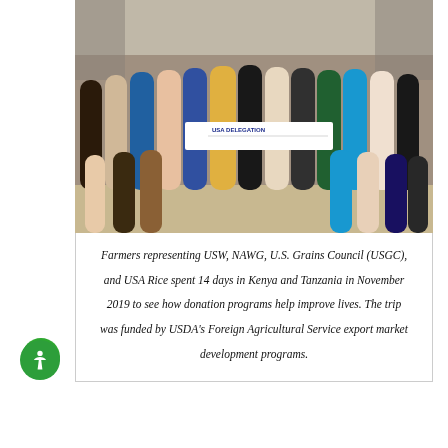[Figure (photo): Group photo of USA Delegation farmers representing USW, NAWG, U.S. Grains Council (USGC), and USA Rice, holding a 'USA DELEGATION' banner, taken in Kenya or Tanzania in November 2019.]
Farmers representing USW, NAWG, U.S. Grains Council (USGC), and USA Rice spent 14 days in Kenya and Tanzania in November 2019 to see how donation programs help improve lives. The trip was funded by USDA's Foreign Agricultural Service export market development programs.
The U.S. agricultural industry, including the wheat farmers USW represents, stand ready to continue providing food and economic opportunity through monetization to the world's